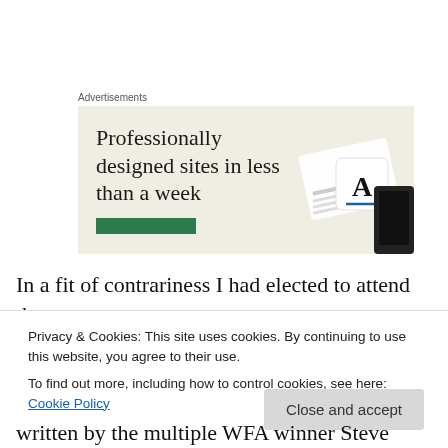Advertisements
[Figure (illustration): Advertisement banner with beige background showing text 'Professionally designed sites in less than a week' with a green button and device mockups on the right side.]
In a fit of contrariness I had elected to attend the convention without my laptop, and with my phone on the
Privacy & Cookies: This site uses cookies. By continuing to use this website, you agree to their use.
To find out more, including how to control cookies, see here: Cookie Policy
written by the multiple WFA winner Steve Jones.